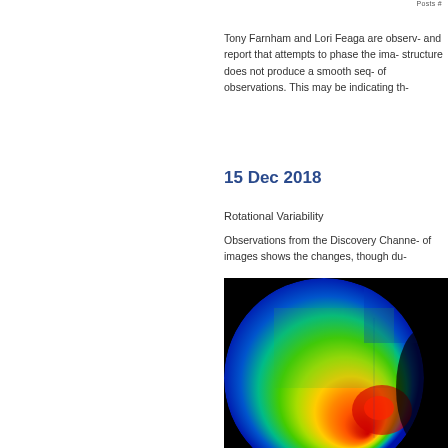Posts #
Tony Farnham and Lori Feaga are observ- and report that attempts to phase the ima- structure does not produce a smooth seq- of observations. This may be indicating th-
15 Dec 2018
Rotational Variability
Observations from the Discovery Channe- of images shows the changes, though du-
[Figure (photo): False-color image of a comet or planetary body showing thermal/intensity mapping. The circular object displays a gradient from blue (outer/cooler regions) through green to yellow-green across most of the disk, with a bright red-orange hotspot in the lower right area. The background is black.]